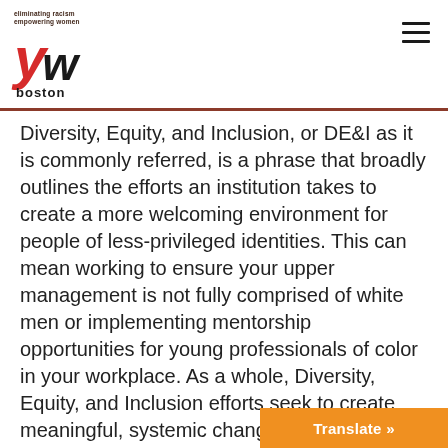eliminating racism empowering women | yw boston
Diversity, Equity, and Inclusion, or DE&I as it is commonly referred, is a phrase that broadly outlines the efforts an institution takes to create a more welcoming environment for people of less-privileged identities. This can mean working to ensure your upper management is not fully comprised of white men or implementing mentorship opportunities for young professionals of color in your workplace. As a whole, Diversity, Equity, and Inclusion efforts seek to create meaningful, systemic change toward more equitable environments.
Diversity, Equity, and Inclusion can in...